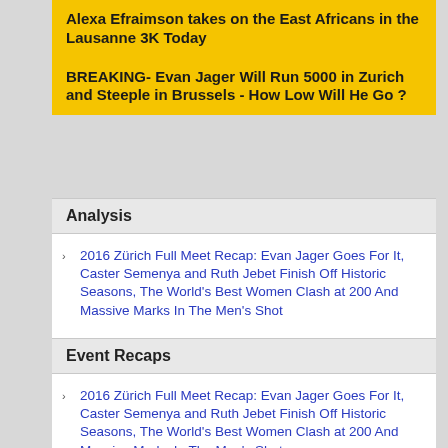Alexa Efraimson takes on the East Africans in the Lausanne 3K Today
BREAKING- Evan Jager Will Run 5000 in Zurich and Steeple in Brussels - How Low Will He Go ?
Analysis
2016 Zürich Full Meet Recap: Evan Jager Goes For It, Caster Semenya and Ruth Jebet Finish Off Historic Seasons, The World's Best Women Clash at 200 And Massive Marks In The Men's Shot
Shannon Rowbury Wins 2016 Diamond League 1500 Finale at Weltklasse Zürich Meeting
Event Recaps
2016 Zürich Full Meet Recap: Evan Jager Goes For It, Caster Semenya and Ruth Jebet Finish Off Historic Seasons, The World's Best Women Clash at 200 And Massive Marks In The Men's Shot
Shannon Rowbury Wins 2016 Diamond League 1500 Finale at Weltklasse Zürich Meeting